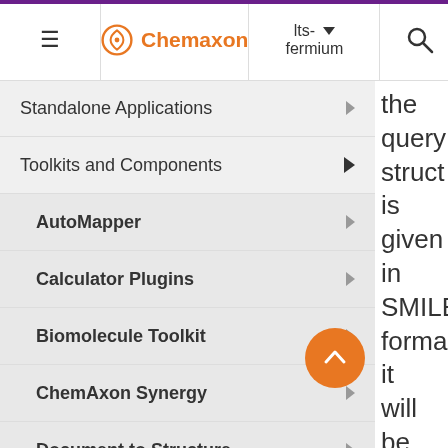Chemaxon — lts-fermium
Standalone Applications
Toolkits and Components
AutoMapper
Calculator Plugins
Biomolecule Toolkit
ChemAxon Synergy
Document to Structure
JChem Base
JChem Choral
the query structure is given in SMILES format it will be converted to SMARTS